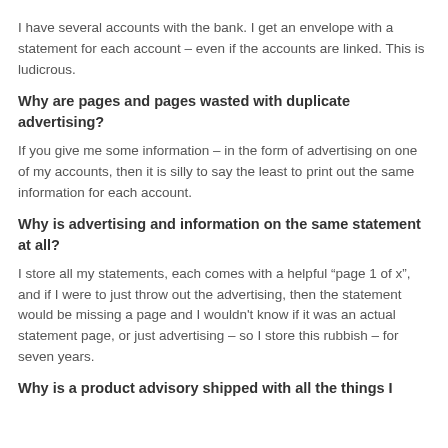I have several accounts with the bank. I get an envelope with a statement for each account – even if the accounts are linked. This is ludicrous.
Why are pages and pages wasted with duplicate advertising?
If you give me some information – in the form of advertising on one of my accounts, then it is silly to say the least to print out the same information for each account.
Why is advertising and information on the same statement at all?
I store all my statements, each comes with a helpful “page 1 of x”, and if I were to just throw out the advertising, then the statement would be missing a page and I wouldn’t know if it was an actual statement page, or just advertising – so I store this rubbish – for seven years.
Why is a product advisory shipped with all the things I